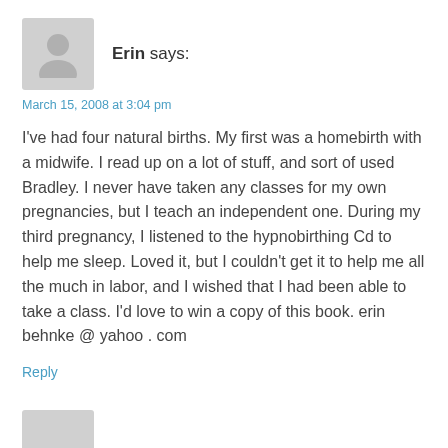[Figure (illustration): Grey avatar placeholder icon of a person silhouette]
Erin says:
March 15, 2008 at 3:04 pm
I've had four natural births. My first was a homebirth with a midwife. I read up on a lot of stuff, and sort of used Bradley. I never have taken any classes for my own pregnancies, but I teach an independent one. During my third pregnancy, I listened to the hypnobirthing Cd to help me sleep. Loved it, but I couldn't get it to help me all the much in labor, and I wished that I had been able to take a class. I'd love to win a copy of this book. erin behnke @ yahoo . com
Reply
[Figure (illustration): Grey avatar placeholder icon partially visible at bottom]